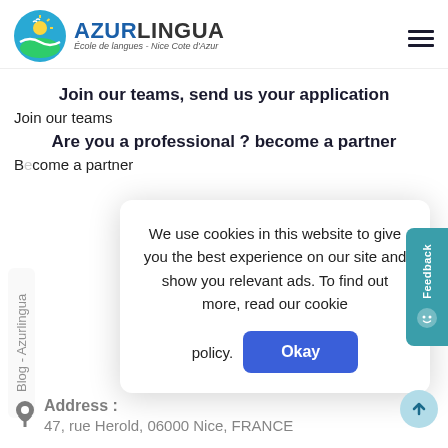[Figure (logo): Azurlingua logo — circular badge with sun/waves, AZURLINGUA brand name, tagline 'École de langues - Nice Cote d'Azur']
Join our teams, send us your application
Join our teams
Are you a professional ? become a partner
Become a partner
We use cookies in this website to give you the best experience on our site and show you relevant ads. To find out more, read our cookie policy.
Blog - Azurlingua
Address : 47, rue Herold, 06000 Nice, FRANCE